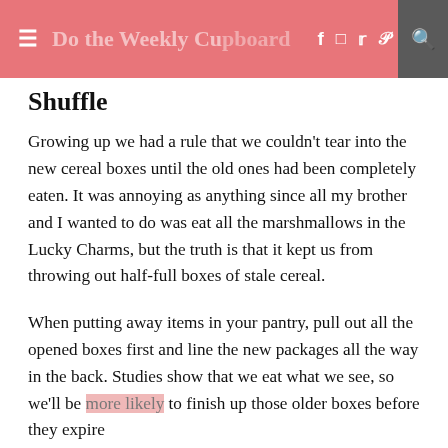≡ Do the Weekly Cupboard Shuffle f IG tw p 🔍
Shuffle
Growing up we had a rule that we couldn't tear into the new cereal boxes until the old ones had been completely eaten. It was annoying as anything since all my brother and I wanted to do was eat all the marshmallows in the Lucky Charms, but the truth is that it kept us from throwing out half-full boxes of stale cereal.
When putting away items in your pantry, pull out all the opened boxes first and line the new packages all the way in the back. Studies show that we eat what we see, so we'll be more likely to finish up those older boxes before they expire